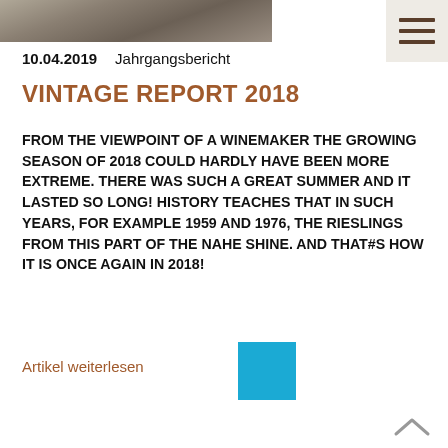[Figure (photo): Partial photo strip at the top of the page showing a cropped image of a person outdoors]
10.04.2019   Jahrgangsbericht
VINTAGE REPORT 2018
FROM THE VIEWPOINT OF A WINEMAKER THE GROWING SEASON OF 2018 COULD HARDLY HAVE BEEN MORE EXTREME. THERE WAS SUCH A GREAT SUMMER AND IT LASTED SO LONG! HISTORY TEACHES THAT IN SUCH YEARS, FOR EXAMPLE 1959 AND 1976, THE RIESLINGS FROM THIS PART OF THE NAHE SHINE. AND THAT#S HOW IT IS ONCE AGAIN IN 2018!
Artikel weiterlesen
[Figure (other): Solid cyan/blue square at the bottom center of the page]
[Figure (other): Scroll-up chevron arrow icon at bottom right]